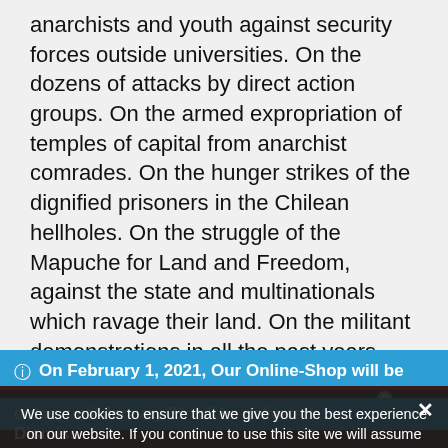anarchists and youth against security forces outside universities. On the dozens of attacks by direct action groups. On the armed expropriation of temples of capital from anarchist comrades. On the hunger strikes of the dignified prisoners in the Chilean hellholes. On the struggle of the Mapuche for Land and Freedom, against the state and multinationals which ravage their land. On the militant demonstrations in all the past years. Thus, organisation, clashes, the infrastructure, but most importantly, militancy and decisiveness, not only keep
On February 1, 2021, Our Online-Shop will be closed. All orders until January 31 will be delivered
Dismiss
We use cookies to ensure that we give you the best experience on our website. If you continue to use this site we will assume that you are happy with it.
Ok